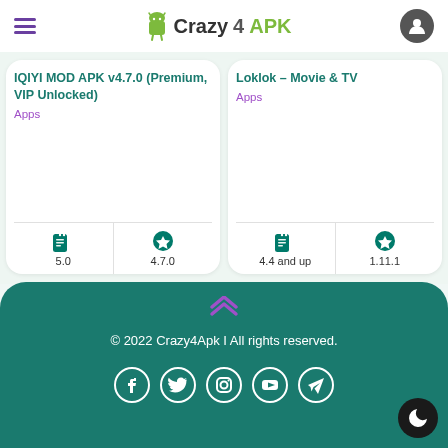Crazy4APK
IQIYI MOD APK v4.7.0 (Premium, VIP Unlocked)
Apps
5.0
4.7.0
Loklok – Movie & TV
Apps
4.4 and up
1.11.1
© 2022 Crazy4Apk I All rights reserved.